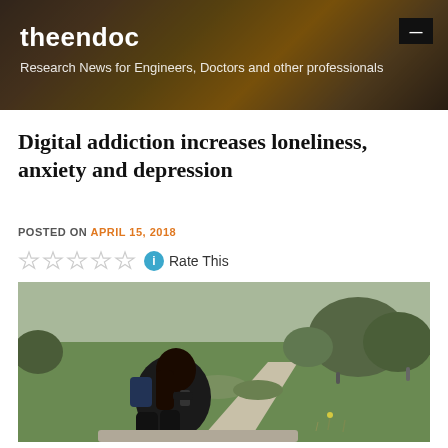theendoc — Research News for Engineers, Doctors and other professionals
Digital addiction increases loneliness, anxiety and depression
POSTED ON APRIL 15, 2018
Rate This
[Figure (photo): A young woman with long dark hair sitting outdoors on a stone ledge in a park, hunched over looking at her smartphone, wearing all black with a backpack. Green grass and trees visible in background.]